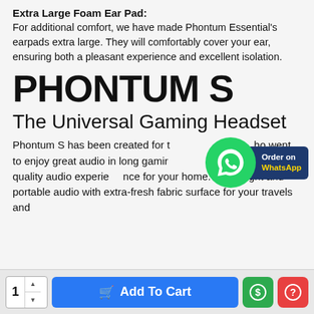Extra Large Foam Ear Pad:
For additional comfort, we have made Phontum Essential's earpads extra large. They will comfortably cover your ear, ensuring both a pleasant experience and excellent isolation.
PHONTUM S
The Universal Gaming Headset
Phontum S has been created for those who want to enjoy great audio in long gaming sessions, high-isolation quality audio experience for your home. Clear, light and portable audio with extra-fresh fabric surface for your travels and